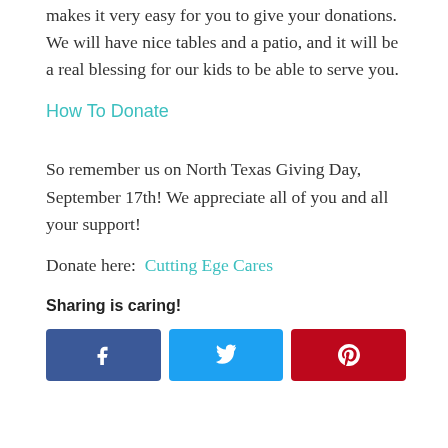makes it very easy for you to give your donations. We will have nice tables and a patio, and it will be a real blessing for our kids to be able to serve you.
How To Donate
So remember us on North Texas Giving Day, September 17th! We appreciate all of you and all your support!
Donate here:  Cutting Ege Cares
Sharing is caring!
[Figure (infographic): Three social sharing buttons: Facebook (dark blue with f icon), Twitter (light blue with bird icon), Pinterest (red with P icon)]